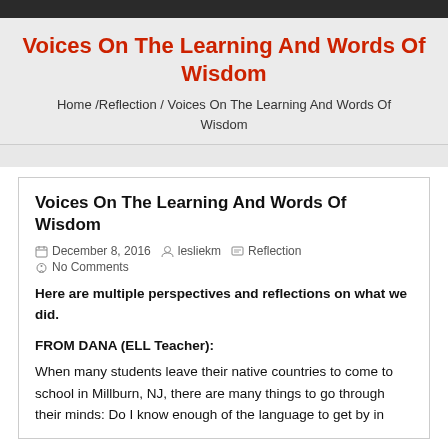Voices On The Learning And Words Of Wisdom
Home /Reflection / Voices On The Learning And Words Of Wisdom
Voices On The Learning And Words Of Wisdom
December 8, 2016   lesliekm   Reflection
No Comments
Here are multiple perspectives and reflections on what we did.
FROM DANA (ELL Teacher):
When many students leave their native countries to come to school in Millburn, NJ, there are many things to go through their minds: Do I know enough of the language to get by in